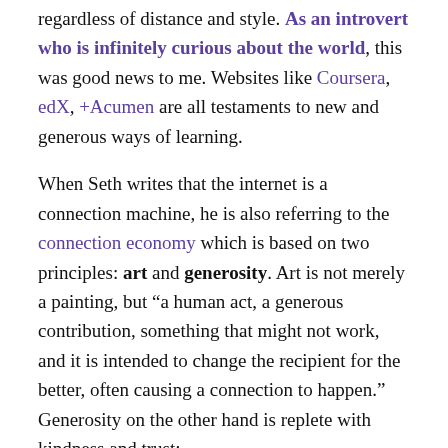regardless of distance and style. As an introvert who is infinitely curious about the world, this was good news to me. Websites like Coursera, edX, +Acumen are all testaments to new and generous ways of learning.
When Seth writes that the internet is a connection machine, he is also referring to the connection economy which is based on two principles: art and generosity. Art is not merely a painting, but “a human act, a generous contribution, something that might not work, and it is intended to change the recipient for the better, often causing a connection to happen.” Generosity on the other hand is replete with kindness and trust:
When someone takes the time to share a finite resource, one that they